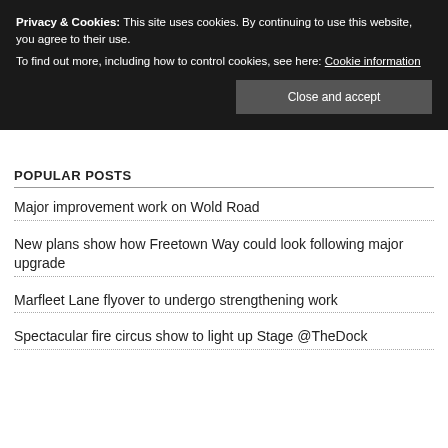Privacy & Cookies: This site uses cookies. By continuing to use this website, you agree to their use. To find out more, including how to control cookies, see here: Cookie information
Close and accept
POPULAR POSTS
Major improvement work on Wold Road
New plans show how Freetown Way could look following major upgrade
Marfleet Lane flyover to undergo strengthening work
Spectacular fire circus show to light up Stage @TheDock